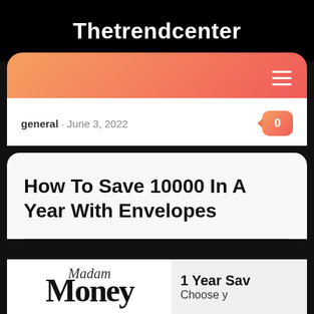Thetrendcenter
general · June 3, 2022
How To Save 10000 In A Year With Envelopes
[Figure (screenshot): Article thumbnail showing 'Madam Money' logo and '1 Year Sav... Choose y...' text]